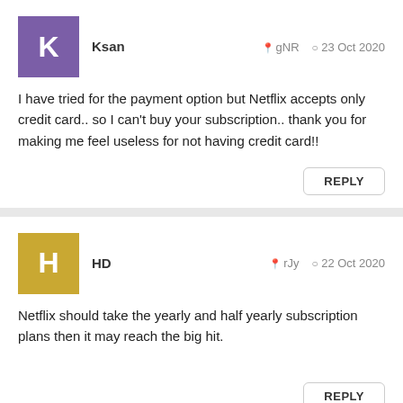Ksan   gNR   23 Oct 2020
I have tried for the payment option but Netflix accepts only credit card.. so I can't buy your subscription.. thank you for making me feel useless for not having credit card!!
REPLY
HD   rJy   22 Oct 2020
Netflix should take the yearly and half yearly subscription plans then it may reach the big hit.
REPLY